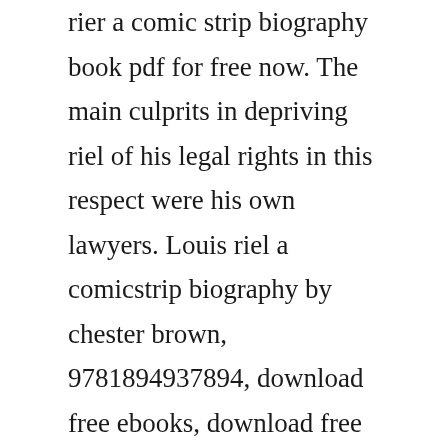rier a comic strip biography book pdf for free now. The main culprits in depriving riel of his legal rights in this respect were his own lawyers. Louis riel a comicstrip biography by chester brown, 9781894937894, download free ebooks, download free pdf epub ebook. Two books that focus on the authors perceptions are. Conversations collects interviews covering all facets of the cartoonists long career and includes several pieces from nowdefunct periodicals and fanzines.
Chester brown available for download and